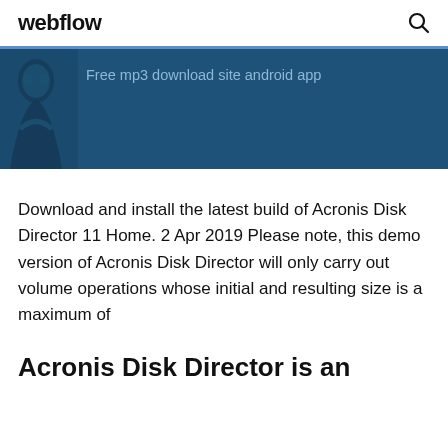webflow
[Figure (illustration): Dark blue banner with a silhouette figure on the left and the text 'Free mp3 download site android app']
Download and install the latest build of Acronis Disk Director 11 Home. 2 Apr 2019 Please note, this demo version of Acronis Disk Director will only carry out volume operations whose initial and resulting size is a maximum of
Acronis Disk Director is an